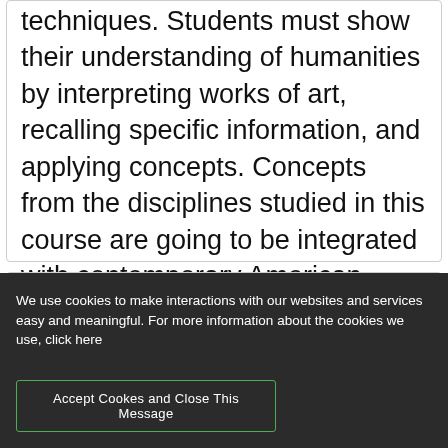techniques. Students must show their understanding of humanities by interpreting works of art, recalling specific information, and applying concepts. Concepts from the disciplines studied in this course are going to be integrated with contemporary American culture.
Introduction to
We use cookies to make interactions with our websites and services easy and meaningful. For more information about the cookies we use, click here
Accept Cookes and Close This Message